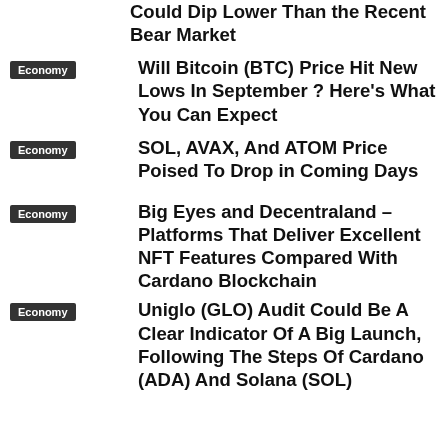Could Dip Lower Than the Recent Bear Market
Economy | Will Bitcoin (BTC) Price Hit New Lows In September ? Here’s What You Can Expect
Economy | SOL, AVAX, And ATOM Price Poised To Drop in Coming Days
Economy | Big Eyes and Decentraland – Platforms That Deliver Excellent NFT Features Compared With Cardano Blockchain
Economy | Uniglo (GLO) Audit Could Be A Clear Indicator Of A Big Launch, Following The Steps Of Cardano (ADA) And Solana (SOL)